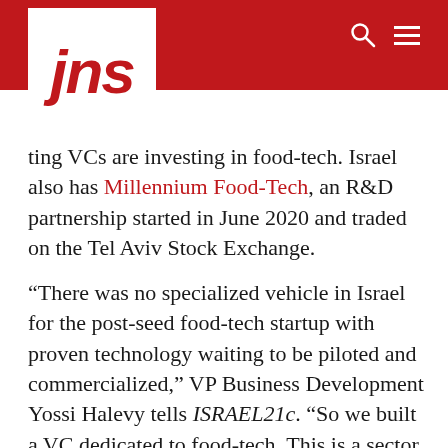jns
ting VCs are investing in food-tech. Israel also has Millennium Food-Tech, an R&D partnership started in June 2020 and traded on the Tel Aviv Stock Exchange.
“There was no specialized vehicle in Israel for the post-seed food-tech startup with proven technology waiting to be piloted and commercialized,” VP Business Development Yossi Halevy tells ISRAEL21c. “So we built a VC dedicated to food-tech. This is a sector that is untouched.”